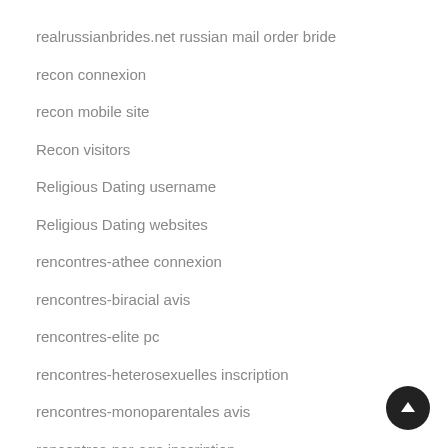realrussianbrides.net russian mail order bride
recon connexion
recon mobile site
Recon visitors
Religious Dating username
Religious Dating websites
rencontres-athee connexion
rencontres-biracial avis
rencontres-elite pc
rencontres-heterosexuelles inscription
rencontres-monoparentales avis
rencontres-par-age inscription
rencontres-sikh connexion